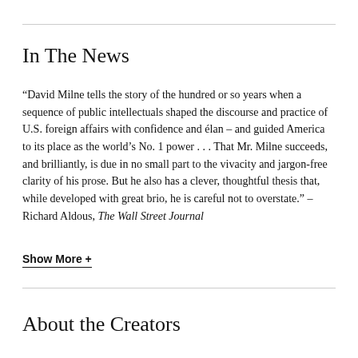In The News
“David Milne tells the story of the hundred or so years when a sequence of public intellectuals shaped the discourse and practice of U.S. foreign affairs with confidence and élan – and guided America to its place as the world’s No. 1 power . . . That Mr. Milne succeeds, and brilliantly, is due in no small part to the vivacity and jargon-free clarity of his prose. But he also has a clever, thoughtful thesis that, while developed with great brio, he is careful not to overstate.” – Richard Aldous, The Wall Street Journal
Show More +
About the Creators